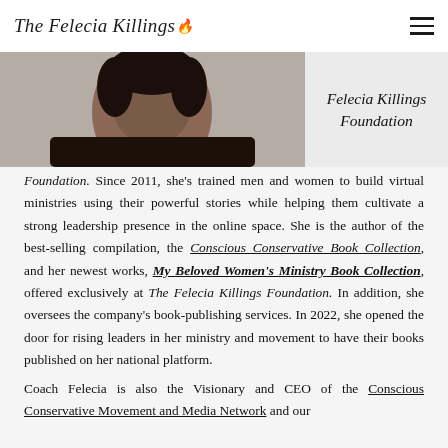The Felecia Killings Foundation [logo]
[Figure (photo): Circular cropped photo of Felecia Killings wearing a dark outfit, with name label 'Felecia Killings Foundation' to the right]
Foundation. Since 2011, she's trained men and women to build virtual ministries using their powerful stories while helping them cultivate a strong leadership presence in the online space. She is the author of the best-selling compilation, the Conscious Conservative Book Collection, and her newest works, My Beloved Women's Ministry Book Collection, offered exclusively at The Felecia Killings Foundation. In addition, she oversees the company's book-publishing services. In 2022, she opened the door for rising leaders in her ministry and movement to have their books published on her national platform.
Coach Felecia is also the Visionary and CEO of the Conscious Conservative Movement and Media Network and our